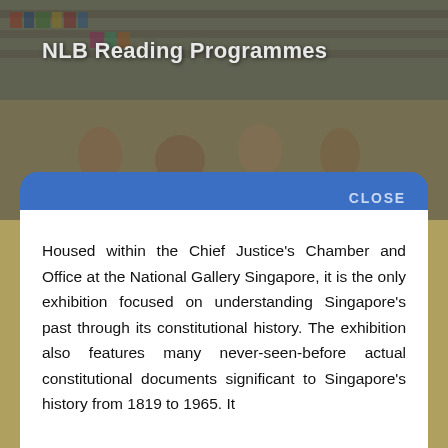[Figure (photo): Photo banner showing people (children and adults) in a library reading setting, with bookshelves in the background. Dark overlay applied.]
NLB Reading Programmes
'Law of the Land: Highlights of Singapore’s Constitutional Documents’ Exhibition
Housed within the Chief Justice’s Chamber and Office at the National Gallery Singapore, it is the only exhibition focused on understanding Singapore’s past through its constitutional history. The exhibition also features many never-seen-before actual constitutional documents significant to Singapore’s history from 1819 to 1965. It